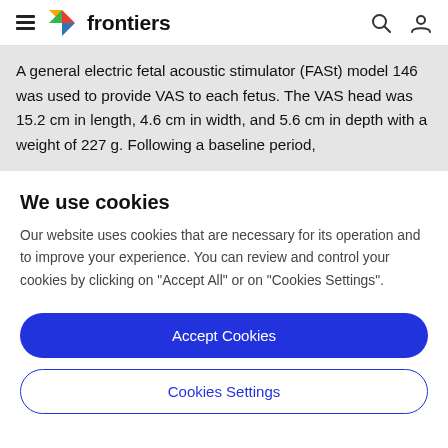frontiers
A general electric fetal acoustic stimulator (FASt) model 146 was used to provide VAS to each fetus. The VAS head was 15.2 cm in length, 4.6 cm in width, and 5.6 cm in depth with a weight of 227 g. Following a baseline period,
We use cookies
Our website uses cookies that are necessary for its operation and to improve your experience. You can review and control your cookies by clicking on "Accept All" or on "Cookies Settings".
Accept Cookies
Cookies Settings